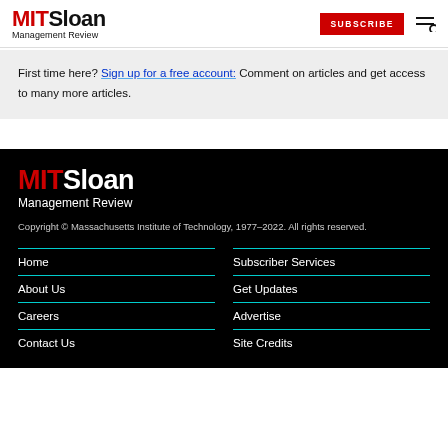MIT Sloan Management Review
First time here? Sign up for a free account: Comment on articles and get access to many more articles.
[Figure (logo): MIT Sloan Management Review logo in footer on black background]
Copyright © Massachusetts Institute of Technology, 1977–2022. All rights reserved.
Home
About Us
Careers
Contact Us
Subscriber Services
Get Updates
Advertise
Site Credits